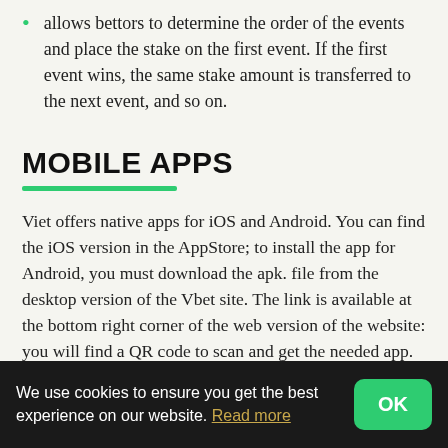allows bettors to determine the order of the events and place the stake on the first event. If the first event wins, the same stake amount is transferred to the next event, and so on.
MOBILE APPS
Viet offers native apps for iOS and Android. You can find the iOS version in the AppStore; to install the app for Android, you must download the apk. file from the desktop version of the Vbet site. The link is available at the bottom right corner of the web version of the website: you will find a QR code to scan and get the needed app. Both apps involve all Vbet features, markets, and promotions available in the full version.
Besides, there is an app for casino gaming called Vivaro Games Armenia. It is not a part of Vbet but is regulated by the same authority and has the same owner. You can find that on the...
We use cookies to ensure you get the best experience on our website. Read more